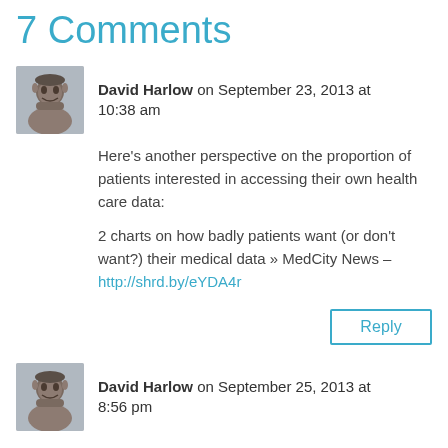7 Comments
David Harlow on September 23, 2013 at 10:38 am
Here's another perspective on the proportion of patients interested in accessing their own health care data:

2 charts on how badly patients want (or don't want?) their medical data » MedCity News – http://shrd.by/eYDA4r
Reply
David Harlow on September 25, 2013 at 8:56 pm
Hmm. Saw an interesting piece today questioning whether that number really